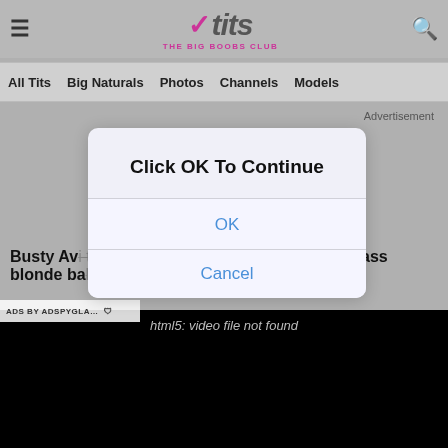XTITS THE BIG BOOBS CLUB
All Tits  Big Naturals  Photos  Channels  Models
Advertisement
Click OK To Continue
OK
Cancel
Busty Av... takes on a big rock - hardcore with big ass blonde babe
ADS BY ADSPYGLA...
html5: video file not found